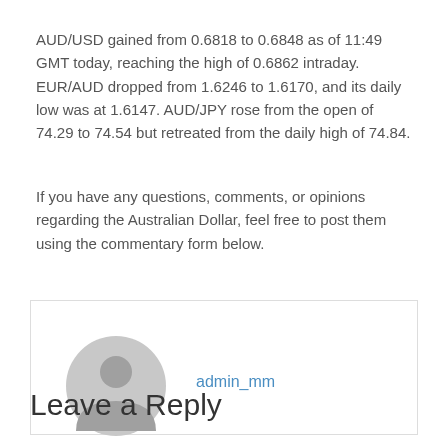AUD/USD gained from 0.6818 to 0.6848 as of 11:49 GMT today, reaching the high of 0.6862 intraday. EUR/AUD dropped from 1.6246 to 1.6170, and its daily low was at 1.6147. AUD/JPY rose from the open of 74.29 to 74.54 but retreated from the daily high of 74.84.
If you have any questions, comments, or opinions regarding the Australian Dollar, feel free to post them using the commentary form below.
[Figure (illustration): User comment block with a gray avatar icon and username admin_mm shown in blue]
Leave a Reply